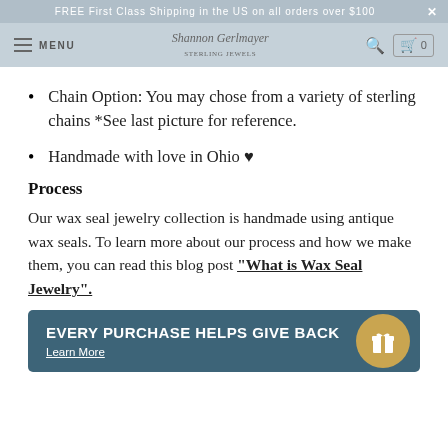FREE First Class Shipping in the US on all orders over $100 ×
MENU | Shannon Gerlmayer | 🔍 | 🛒 0
Chain Option: You may chose from a variety of sterling chains *See last picture for reference.
Handmade with love in Ohio ♥
Process
Our wax seal jewelry collection is handmade using antique wax seals. To learn more about our process and how we make them, you can read this blog post "What is Wax Seal Jewelry".
[Figure (infographic): Dark blue/teal promotional banner with text 'EVERY PURCHASE HELPS GIVE BACK' and 'Learn More' link, with a gold circle containing a gift box icon on the right side.]